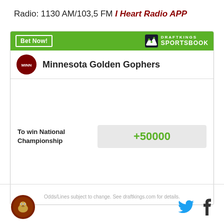Radio: 1130 AM/103,5 FM I Heart Radio APP
[Figure (screenshot): DraftKings Sportsbook betting widget showing Minnesota Golden Gophers with odds +50000 to win National Championship]
Odds/Lines subject to change. See draftkings.com for details.
[Figure (logo): Minnesota Golden Gophers logo and social media icons (Twitter/X and Facebook)]